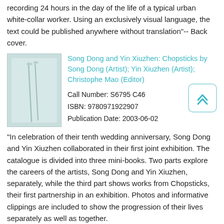recording 24 hours in the day of the life of a typical urban white-collar worker. Using an exclusively visual language, the text could be published anywhere without translation"-- Back cover.
[Figure (illustration): Book cover thumbnail showing a pale blue-green abstract image with what appears to be chopsticks or thin lines.]
Song Dong and Yin Xiuzhen: Chopsticks by Song Dong (Artist); Yin Xiuzhen (Artist); Christophe Mao (Editor)
Call Number: S6795 C46
ISBN: 9780971922907
Publication Date: 2003-06-02
"In celebration of their tenth wedding anniversary, Song Dong and Yin Xiuzhen collaborated in their first joint exhibition. The catalogue is divided into three mini-books. Two parts explore the careers of the artists, Song Dong and Yin Xiuzhen, separately, while the third part shows works from Chopsticks, their first partnership in an exhibition. Photos and informative clippings are included to show the progression of their lives separately as well as together.